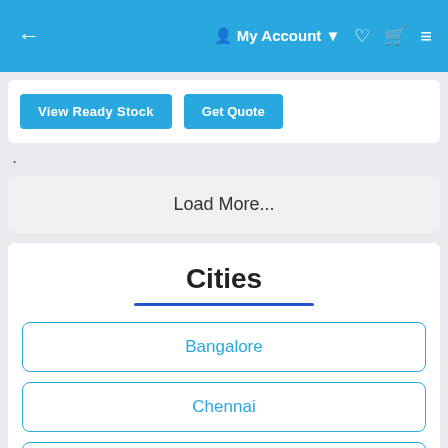← My Account ▾ ♥ 🛒 ≡
View Ready Stock  Get Quote
.
Load More...
Cities
Bangalore
Chennai
Chittorgarh